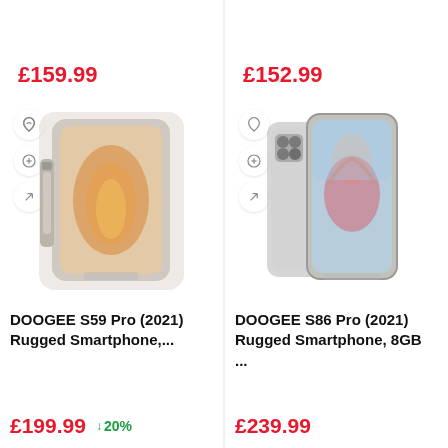£159.99
£152.99
[Figure (photo): DOOGEE S59 Pro foldable rugged smartphone product image]
DOOGEE S59 Pro (2021) Rugged Smartphone,...
£199.99
↓ 20%
[Figure (photo): DOOGEE S86 Pro rugged smartphone product image]
DOOGEE S86 Pro (2021) Rugged Smartphone, 8GB ...
£239.99